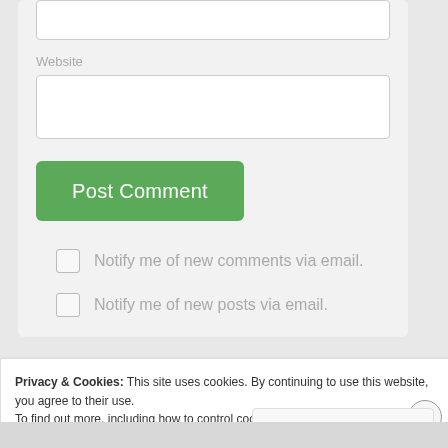Website
[Figure (screenshot): Website text input field (empty white input box)]
[Figure (screenshot): Green 'Post Comment' button]
Notify me of new comments via email.
Notify me of new posts via email.
Privacy & Cookies: This site uses cookies. By continuing to use this website, you agree to their use.
To find out more, including how to control cookies, see here: Cookie Policy
Close and accept